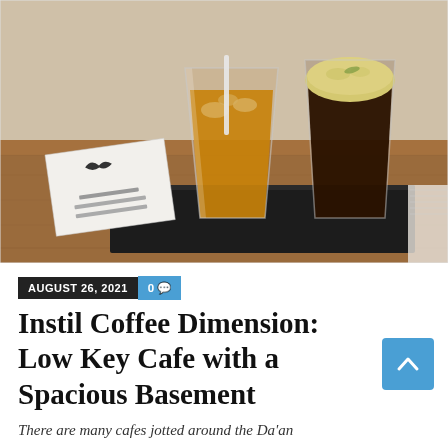[Figure (photo): Two coffee drinks on a black tray on a wooden table. Left glass contains iced coffee with a straw, right glass contains dark coffee with a frothy foam topping. A white menu card with a small logo is leaning against the left side of the tray.]
AUGUST 26, 2021   0
Instil Coffee Dimension: Low Key Cafe with a Spacious Basement
There are many cafes jotted around the Da'an